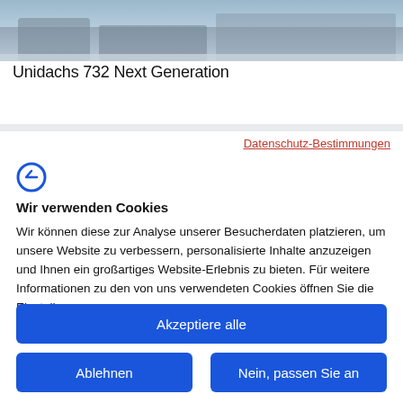[Figure (photo): Partial image of Unidachs 732 Next Generation product (roof/machinery) at top of page]
Unidachs 732 Next Generation
Datenschutz-Bestimmungen
[Figure (logo): Stylized letter C logo in blue]
Wir verwenden Cookies
Wir können diese zur Analyse unserer Besucherdaten platzieren, um unsere Website zu verbessern, personalisierte Inhalte anzuzeigen und Ihnen ein großartiges Website-Erlebnis zu bieten. Für weitere Informationen zu den von uns verwendeten Cookies öffnen Sie die Einstellungen.
Akzeptiere alle
Ablehnen
Nein, passen Sie an